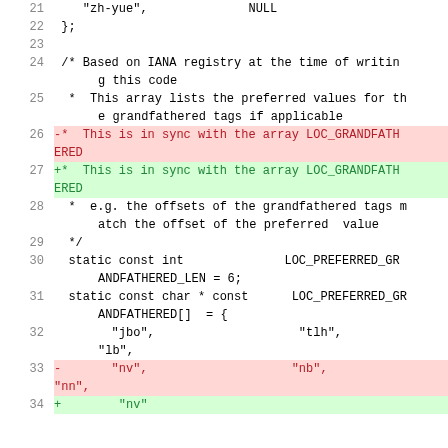Code diff snippet showing lines 21-34 of a C/C++ source file with grandfathered locale tag arrays
Line 21: "zh-yue",   NULL
Line 22: };
Line 23: (empty)
Line 24: /* Based on IANA registry at the time of writing this code
Line 25:  *  This array lists the preferred values for the grandfathered tags if applicable
Line 26 (deleted): -*  This is in sync with the array LOC_GRANDFATHERED
Line 27 (inserted): +*  This is in sync with the array LOC_GRANDFATHERED
Line 28:  *  e.g. the offsets of the grandfathered tags match the offset of the preferred  value
Line 29:  */
Line 30:  static const int   LOC_PREFERRED_GRANDFATHERED_LEN = 6;
Line 31:  static const char * const   LOC_PREFERRED_GRANDFATHERED[] = {
Line 32:         "jbo",   "tlh",   "lb",
Line 33 (deleted): -       "nv",   "nb",   "nn",
Line 34 (inserted): +       "nv",   "nb"